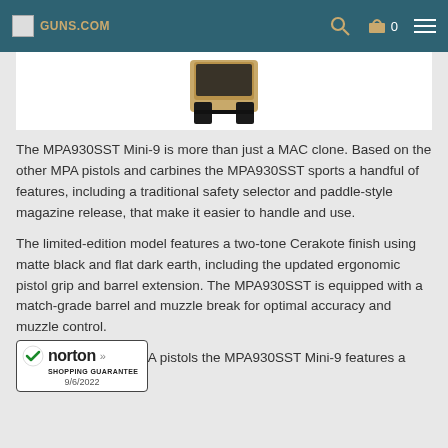GUNS.COM  🔍 🛒 0 ☰
[Figure (photo): Partial product image of an MPA930SST Mini-9 pistol, showing the grip and lower portion of the firearm in a tan/flat dark earth color against a white background.]
The MPA930SST Mini-9 is more than just a MAC clone. Based on the other MPA pistols and carbines the MPA930SST sports a handful of features, including a traditional safety selector and paddle-style magazine release, that make it easier to handle and use.
The limited-edition model features a two-tone Cerakote finish using matte black and flat dark earth, including the updated ergonomic pistol grip and barrel extension. The MPA930SST is equipped with a match-grade barrel and muzzle break for optimal accuracy and muzzle control.
...PA pistols the MPA930SST Mini-9 features a side ... l ... Direction ... fl tt ... i th t
[Figure (logo): Norton Shopping Guarantee badge with checkmark, showing date 9/6/2022]